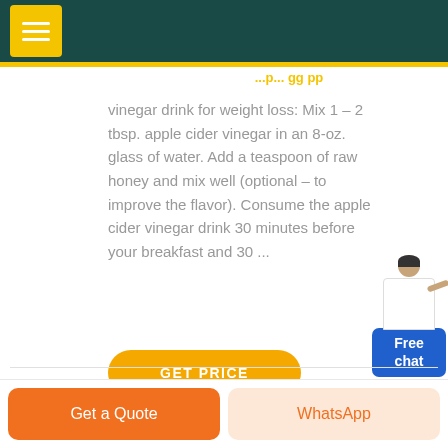[Figure (screenshot): Dark teal navigation header bar with yellow square menu button (hamburger icon)]
vinegar drink for weight loss: Mix 1 – 2 tbsp. apple cider vinegar in an 8-oz. glass of water. Add a teaspoon of raw honey and mix well (optional – to improve the flavor). Consume the apple cider vinegar drink 30 minutes before your breakfast and 30 ...
[Figure (illustration): Free chat widget with a person illustration and blue button labeled 'Free chat']
[Figure (other): Yellow pill-shaped GET PRICE button]
Get a Quote   WhatsApp